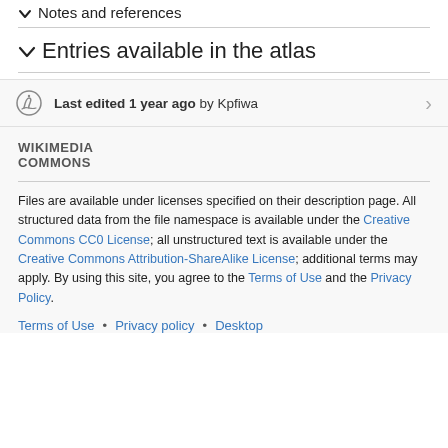Notes and references
Entries available in the atlas
Last edited 1 year ago by Kpfiwa
[Figure (logo): Wikimedia Commons logo text]
Files are available under licenses specified on their description page. All structured data from the file namespace is available under the Creative Commons CC0 License; all unstructured text is available under the Creative Commons Attribution-ShareAlike License; additional terms may apply. By using this site, you agree to the Terms of Use and the Privacy Policy.
Terms of Use • Privacy policy • Desktop